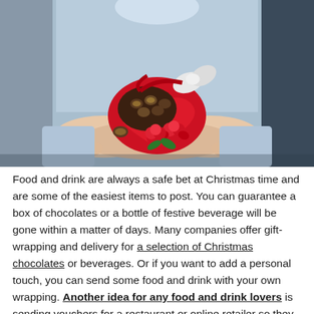[Figure (photo): Person in blue shirt holding out cupped hands offering a red heart-shaped box of chocolates decorated with red roses and a white bow/ribbon]
Food and drink are always a safe bet at Christmas time and are some of the easiest items to post. You can guarantee a box of chocolates or a bottle of festive beverage will be gone within a matter of days. Many companies offer gift-wrapping and delivery for a selection of Christmas chocolates or beverages. Or if you want to add a personal touch, you can send some food and drink with your own wrapping. Another idea for any food and drink lovers is sending vouchers for a restaurant or online retailer so they can decide based on